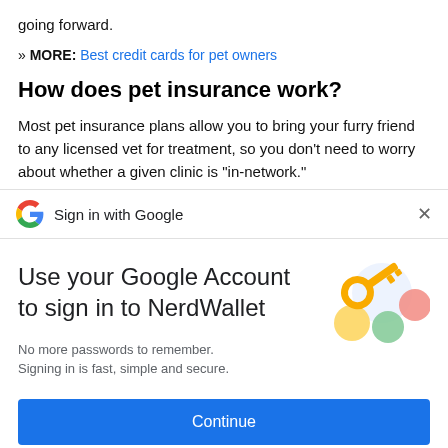going forward.
» MORE: Best credit cards for pet owners
How does pet insurance work?
Most pet insurance plans allow you to bring your furry friend to any licensed vet for treatment, so you don't need to worry about whether a given clinic is "in-network."
Sign in with Google
Use your Google Account to sign in to NerdWallet
No more passwords to remember. Signing in is fast, simple and secure.
[Figure (illustration): Google sign-in illustration showing a golden key and colorful circular shapes (blue, yellow, red, green)]
Continue